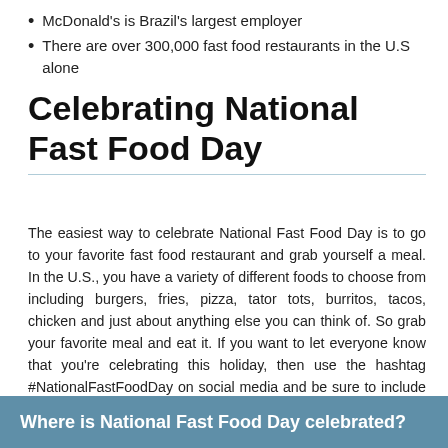McDonald's is Brazil's largest employer
There are over 300,000 fast food restaurants in the U.S alone
Celebrating National Fast Food Day
The easiest way to celebrate National Fast Food Day is to go to your favorite fast food restaurant and grab yourself a meal. In the U.S., you have a variety of different foods to choose from including burgers, fries, pizza, tator tots, burritos, tacos, chicken and just about anything else you can think of. So grab your favorite meal and eat it. If you want to let everyone know that you're celebrating this holiday, then use the hashtag #NationalFastFoodDay on social media and be sure to include pictures of the meal you picked up.
Where is National Fast Food Day celebrated?